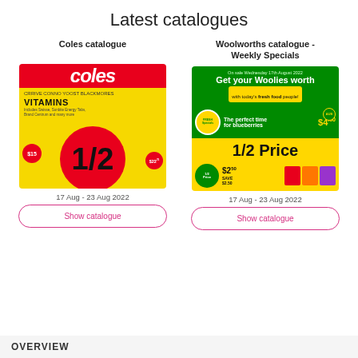Latest catalogues
Coles catalogue
[Figure (illustration): Coles catalogue cover showing vitamins sale with 1/2 price promotion on red and yellow background]
17 Aug - 23 Aug 2022
Show catalogue
Woolworths catalogue - Weekly Specials
[Figure (illustration): Woolworths catalogue cover showing Get your Woolies worth, blueberries $4.50, 1/2 Price specials on green and yellow background]
17 Aug - 23 Aug 2022
Show catalogue
OVERVIEW